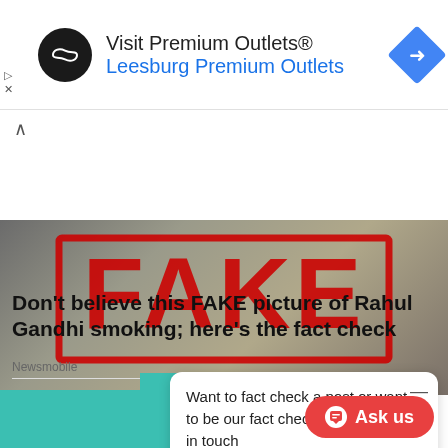[Figure (screenshot): Advertisement banner for Visit Premium Outlets / Leesburg Premium Outlets with circular logo and navigation arrow icon]
[Figure (photo): Photo with large red FAKE stamp overlay on an image]
Don’t believe this FAKE picture of Rahul Gandhi smoking; here’s the fact check
Newsmobile
Want to fact check a post or want to be our fact check contributor get in touch